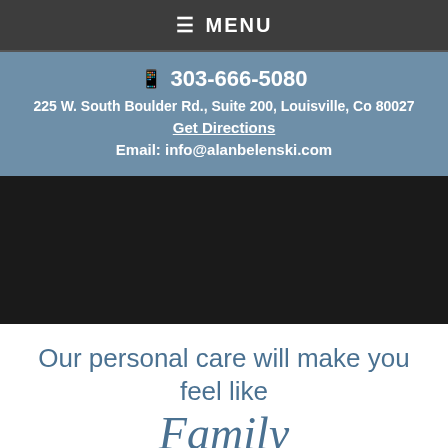≡ MENU
📱 303-666-5080
225 W. South Boulder Rd., Suite 200, Louisville, Co 80027
Get Directions
Email: info@alanbelenski.com
[Figure (photo): Dark background section, likely a photo or banner area]
Our personal care will make you feel like Family
[Figure (illustration): Dark section with green semicircle/oval shape at the bottom]